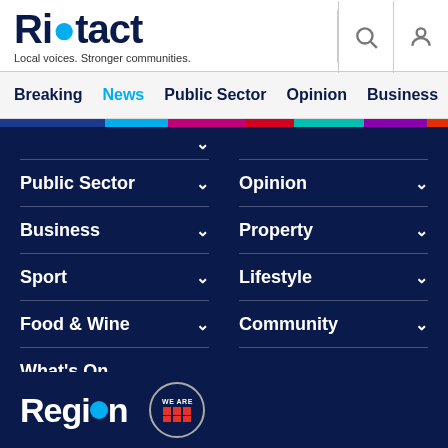[Figure (logo): Riotact logo with tagline 'Local voices. Stronger communities.']
Breaking | News | Public Sector | Opinion | Business | R...
Public Sector
Opinion
Business
Property
Sport
Lifestyle
Food & Wine
Community
What's On
[Figure (logo): Region logo at bottom]